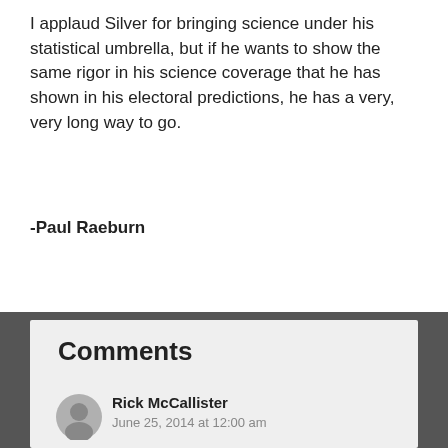I applaud Silver for bringing science under his statistical umbrella, but if he wants to show the same rigor in his science coverage that he has shown in his electoral predictions, he has a very, very long way to go.
-Paul Raeburn
Comments
Rick McCallister
June 25, 2014 at 12:00 am